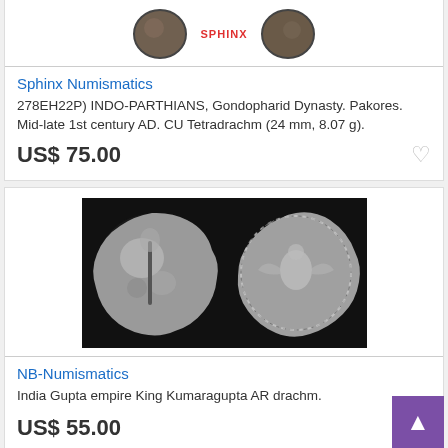[Figure (photo): Two ancient coins shown side by side with SPHINX label text between them, partially cropped at top]
Sphinx Numismatics
278EH22P) INDO-PARTHIANS, Gondopharid Dynasty. Pakores. Mid-late 1st century AD. CU Tetradrachm (24 mm, 8.07 g).
US$ 75.00
[Figure (photo): Two silver ancient coins photographed against black background - left coin shows figure on obverse, right coin shows eagle or bird design on reverse]
NB-Numismatics
India Gupta empire King Kumaragupta AR drachm.
US$ 55.00